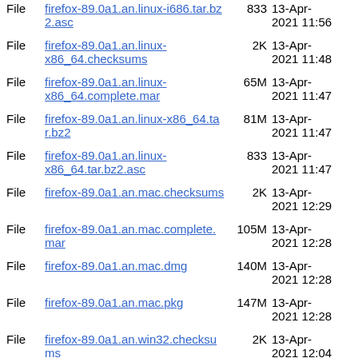File firefox-89.0a1.an.linux-i686.tar.bz2.asc 833 13-Apr-2021 11:56
File firefox-89.0a1.an.linux-x86_64.checksums 2K 13-Apr-2021 11:48
File firefox-89.0a1.an.linux-x86_64.complete.mar 65M 13-Apr-2021 11:47
File firefox-89.0a1.an.linux-x86_64.tar.bz2 81M 13-Apr-2021 11:47
File firefox-89.0a1.an.linux-x86_64.tar.bz2.asc 833 13-Apr-2021 11:47
File firefox-89.0a1.an.mac.checksums 2K 13-Apr-2021 12:29
File firefox-89.0a1.an.mac.complete.mar 105M 13-Apr-2021 12:28
File firefox-89.0a1.an.mac.dmg 140M 13-Apr-2021 12:28
File firefox-89.0a1.an.mac.pkg 147M 13-Apr-2021 12:28
File firefox-89.0a1.an.win32.checksums 2K 13-Apr-2021 12:04
File firefox-89.0a1.an.win32.complete.mar 57M 13-Apr-2021 12:03